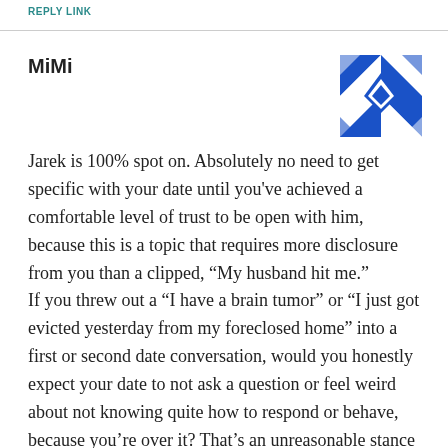REPLY LINK
MiMi
Jarek is 100% spot on. Absolutely no need to get specific with your date until you've achieved a comfortable level of trust to be open with him, because this is a topic that requires more disclosure from you than a clipped, “My husband hit me.” If you threw out a “I have a brain tumor” or “I just got evicted yesterday from my foreclosed home” into a first or second date conversation, would you honestly expect your date to not ask a question or feel weird about not knowing quite how to respond or behave, because you’re over it? That’s an unreasonable stance to take, and perhaps a bit disrespectful of your date’s feelings. If you’re going to set off a stink bomb, you have to be willing to let people tell you how bad the